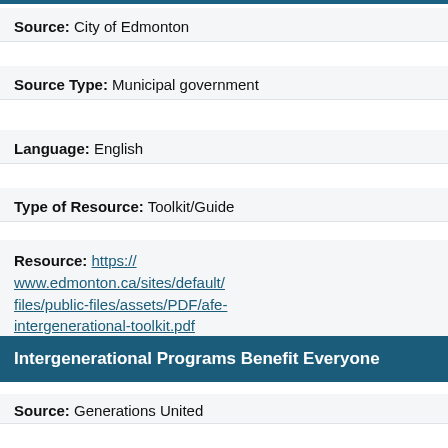Source: City of Edmonton
Source Type: Municipal government
Language: English
Type of Resource: Toolkit/Guide
Resource: https://www.edmonton.ca/sites/default/files/public-files/assets/PDF/afe-intergenerational-toolkit.pdf
Intergenerational Programs Benefit Everyone
Source: Generations United
Source Type: Nonprofit organization
Language: English